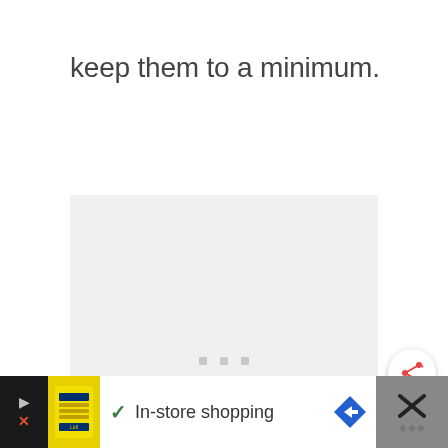keep them to a minimum.
[Figure (screenshot): A loading placeholder box with light gray background and three small gray dots centered near the middle indicating content is loading.]
[Figure (screenshot): A share button (circular white button with orange share icon and plus sign) positioned at the bottom right of the content area.]
[Figure (screenshot): A mobile advertisement bar at the bottom showing a Lidl store ad with yellow thumbnail, checkmark, 'In-store shopping' text, blue diamond arrow button, and a dark close panel with X icon.]